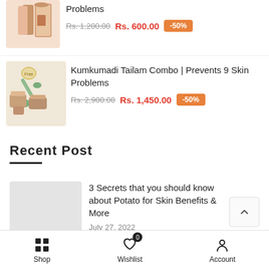[Figure (photo): Product image - skincare bottles and packaging in peach/brown tones]
Problems
Rs. 1,200.00 Rs. 600.00 -50%
[Figure (photo): Product image - Kumkumadi Tailam combo with jade roller and skincare jars]
Kumkumadi Tailam Combo | Prevents 9 Skin Problems
Rs. 2,900.00 Rs. 1,450.00 -50%
Recent Post
[Figure (photo): Light grey placeholder image for blog post]
3 Secrets that you should know about Potato for Skin Benefits & More
July 27, 2022
Shop   Wishlist 0   Account